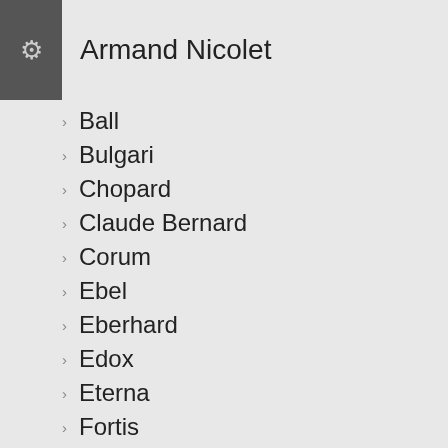Armand Nicolet
Ball
Bulgari
Chopard
Claude Bernard
Corum
Ebel
Eberhard
Edox
Eterna
Fortis
Hamilton
Junghans
Louis Erard
Marvin